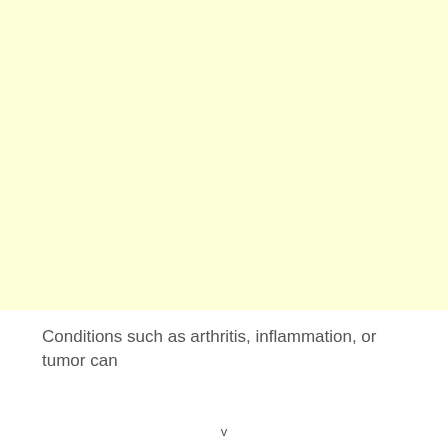[Figure (other): Large light yellow rectangular block filling the upper portion of the page, serving as a background image or illustration placeholder.]
Conditions such as arthritis, inflammation, or tumor can
v